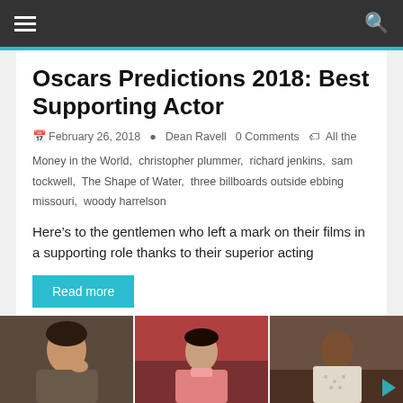≡  Q
Oscars Predictions 2018: Best Supporting Actor
February 26, 2018   Dean Ravell   0 Comments   All the Money in the World, christopher plummer, richard jenkins, sam tockwell, The Shape of Water, three billboards outside ebbing missouri, woody harrelson
Here's to the gentlemen who left a mark on their films in a supporting role thanks to their superior acting
Read more
[Figure (photo): Three film stills showing actors in supporting roles: left shows a woman with short hair, center shows a woman in pink, right shows a man in a dotted shirt]